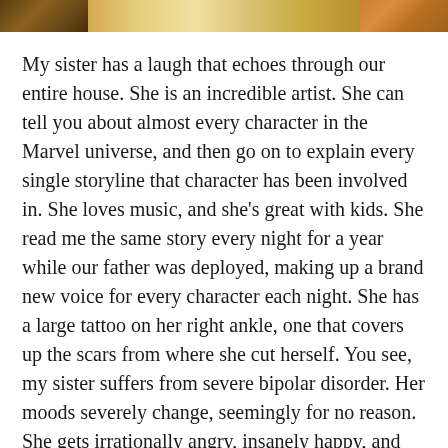[Figure (photo): Partial photo strip at the top of the page showing warm golden/brown tones, with darker sections on the left and right edges and lighter golden tones in the middle.]
My sister has a laugh that echoes through our entire house. She is an incredible artist. She can tell you about almost every character in the Marvel universe, and then go on to explain every single storyline that character has been involved in. She loves music, and she's great with kids. She read me the same story every night for a year while our father was deployed, making up a brand new voice for every character each night. She has a large tattoo on her right ankle, one that covers up the scars from where she cut herself. You see, my sister suffers from severe bipolar disorder. Her moods severely change, seemingly for no reason. She gets irrationally angry, insanely happy, and crushingly sad, and she has no control over it. Growing up, there were times when she was so angry or when she was so sad, and no one knew what was causing it. When my